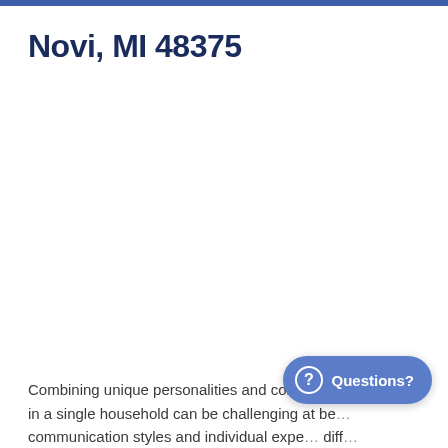Novi, MI 48375
Combining unique personalities and competing dynamics in a single household can be challenging at be... communication styles and individual expe... diff...